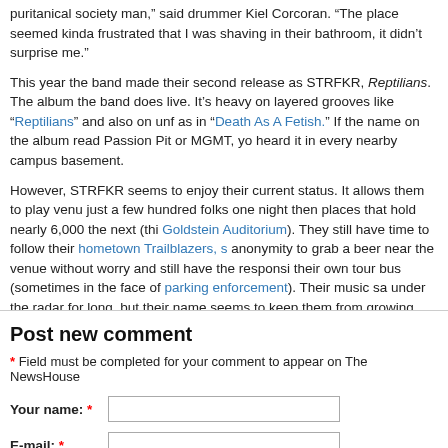puritanical society man," said drummer Kiel Corcoran. "The place seemed kinda frustrated that I was shaving in their bathroom, it didn't surprise me."
This year the band made their second release as STRFKR, Reptilians. The album the band does live. It's heavy on layered grooves like "Reptilians" and also on unf as in "Death As A Fetish." If the name on the album read Passion Pit or MGMT, yo heard it in every nearby campus basement.
However, STRFKR seems to enjoy their current status. It allows them to play venu just a few hundred folks one night then places that hold nearly 6,000 the next (thi Goldstein Auditorium). They still have time to follow their hometown Trailblazers, anonymity to grab a beer near the venue without worry and still have the responsi their own tour bus (sometimes in the face of parking enforcement). Their music sa under the radar for long, but their name seems to keep them from growing. Maybe STRFKR likes it. That's lucky for all of us if it means we can expect more shows li
One More for the Road: Tokyo Police Club
Check out our road trip/concert review video of the Canadian indie rockers' show Buffalo.
Post new comment
* Field must be completed for your comment to appear on The NewsHouse
Your name: *
E-mail: *
The content of this field is kept private and will not be shown publicly.